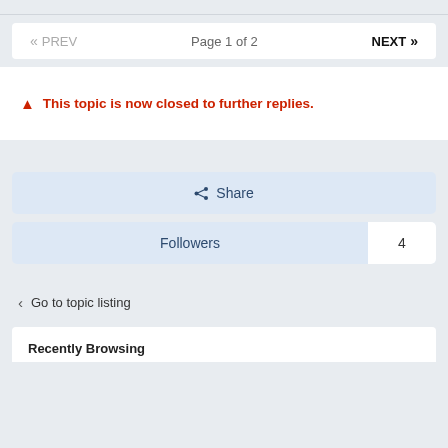« PREV   Page 1 of 2   NEXT »
⚠ This topic is now closed to further replies.
⋮ Share
Followers   4
< Go to topic listing
Recently Browsing